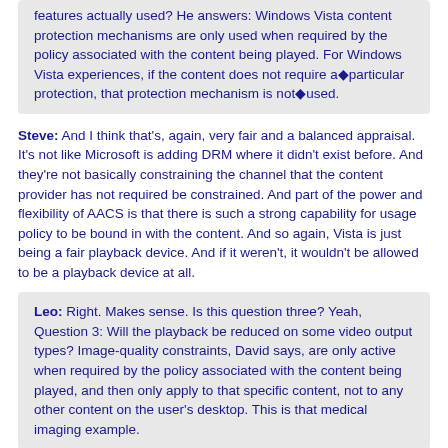features actually used? He answers: Windows Vista content protection mechanisms are only used when required by the policy associated with the content being played. For Windows Vista experiences, if the content does not require a particular protection, that protection mechanism is not used.
Steve: And I think that's, again, very fair and a balanced appraisal. It's not like Microsoft is adding DRM where it didn't exist before. And they're not basically constraining the channel that the content provider has not required be constrained. And part of the power and flexibility of AACS is that there is such a strong capability for usage policy to be bound in with the content. And so again, Vista is just being a fair playback device. And if it weren't, it wouldn't be allowed to be a playback device at all.
Leo: Right. Makes sense. Is this question three? Yeah, Question 3: Will the playback be reduced on some video output types? Image-quality constraints, David says, are only active when required by the policy associated with the content being played, and then only apply to that specific content, not to any other content on the user's desktop. This is that medical imaging example.
Steve: Exactly.
Leo: As a practical matter, image constraint will typically result in